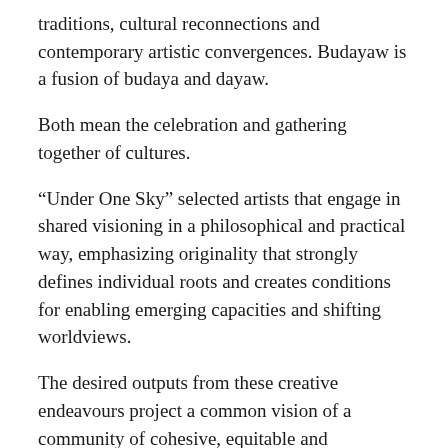traditions, cultural reconnections and contemporary artistic convergences. Budayaw is a fusion of budaya and dayaw.
Both mean the celebration and gathering together of cultures.
“Under One Sky” selected artists that engage in shared visioning in a philosophical and practical way, emphasizing originality that strongly defines individual roots and creates conditions for enabling emerging capacities and shifting worldviews.
The desired outputs from these creative endeavours project a common vision of a community of cohesive, equitable and harmonious societies, bound together in solidarity for deeper understanding and cooperation through expressions that shape local identities—as individuals, as a nation, and as a region. In lieu, it is important to anchor culture and the arts as enduring